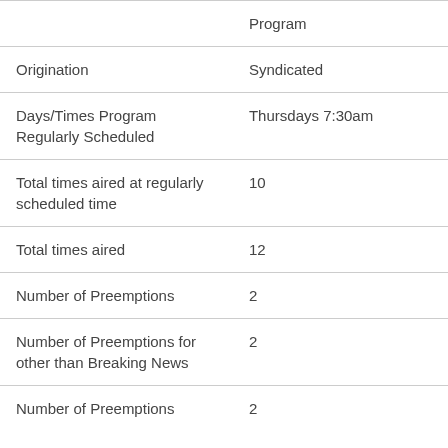|  | Program |
| --- | --- |
| Origination | Syndicated |
| Days/Times Program Regularly Scheduled | Thursdays 7:30am |
| Total times aired at regularly scheduled time | 10 |
| Total times aired | 12 |
| Number of Preemptions | 2 |
| Number of Preemptions for other than Breaking News | 2 |
| Number of Preemptions | 2 |